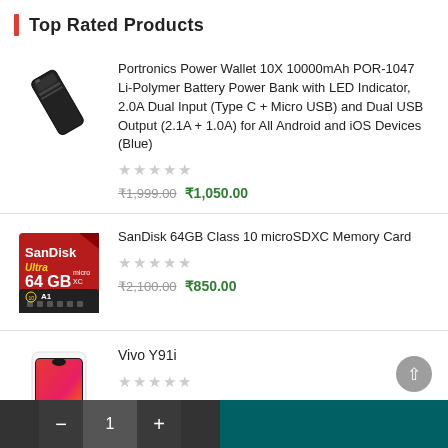Top Rated Products
Portronics Power Wallet 10X 10000mAh POR-1047 Li-Polymer Battery Power Bank with LED Indicator, 2.0A Dual Input (Type C + Micro USB) and Dual USB Output (2.1A + 1.0A) for All Android and iOS Devices (Blue)
[stars: 0/5]
₹1,999.00  ₹1,050.00
[Figure (photo): Black power bank device]
SanDisk 64GB Class 10 microSDXC Memory Card
[stars: 0/5]
₹2,100.00  ₹850.00
[Figure (photo): SanDisk Ultra 64GB microSDXC memory card]
Vivo Y91i
[stars: 0/5]
[Figure (photo): Vivo Y91i smartphone with gradient red-orange display]
- 1 +